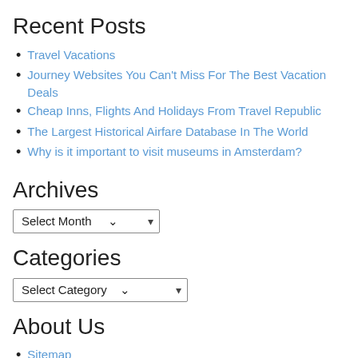Recent Posts
Travel Vacations
Journey Websites You Can't Miss For The Best Vacation Deals
Cheap Inns, Flights And Holidays From Travel Republic
The Largest Historical Airfare Database In The World
Why is it important to visit museums in Amsterdam?
Archives
Select Month
Categories
Select Category
About Us
Sitemap